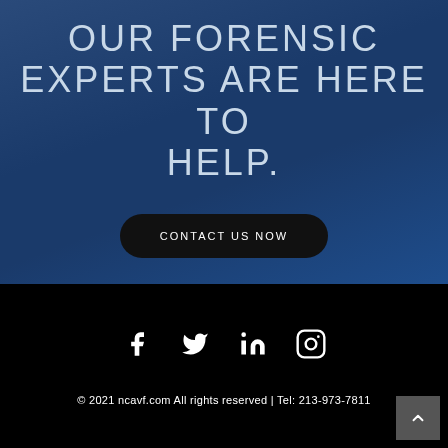OUR FORENSIC EXPERTS ARE HERE TO HELP.
CONTACT US NOW
[Figure (infographic): Social media icons: Facebook, Twitter, LinkedIn, Instagram in white on black background]
© 2021 ncavf.com All rights reserved | Tel: 213-973-7811